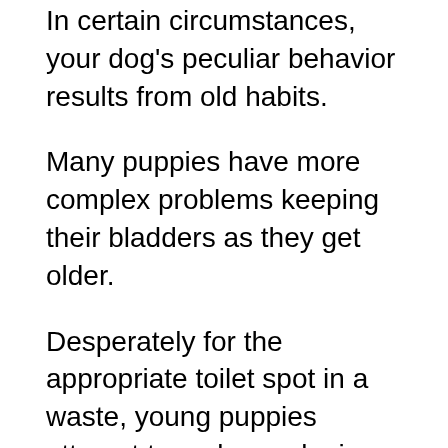In certain circumstances, your dog's peculiar behavior results from old habits.
Many puppies have more complex problems keeping their bladders as they get older.
Desperately for the appropriate toilet spot in a waste, young puppies attempt to make apologies. Educating your dog to be more self-reliant is an important part of housebreaking.
Not all dogs, however, can stop the tendency. They may learn to keep things in until they reach the outdoors. But, the act of emptying